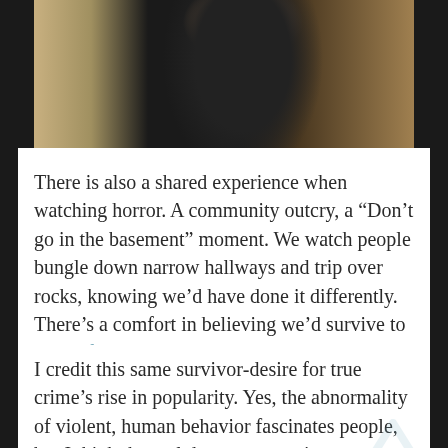[Figure (photo): A person holding something outdoors, photo cropped at top of page with earthy and dark tones]
There is also a shared experience when watching horror. A community outcry, a “Don’t go in the basement” moment. We watch people bungle down narrow hallways and trip over rocks, knowing we’d have done it differently. There’s a comfort in believing we’d survive to be the final girl.
I credit this same survivor-desire for true crime’s rise in popularity. Yes, the abnormality of violent, human behavior fascinates people, but I think the real draw to true crime stems